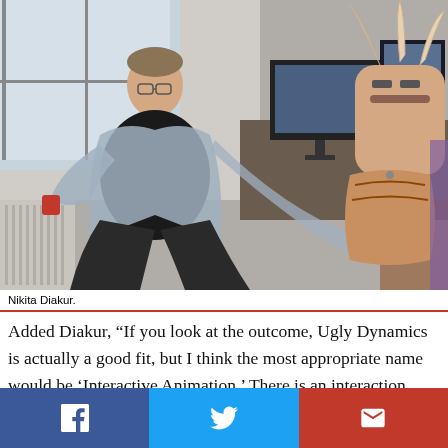[Figure (photo): Photo of Nikita Diakur sitting in a chair in his studio/room with a monitor and computer setup visible behind him, and an animated puppet/character visible on the right side of the image.]
Nikita Diakur.
Added Diakur, “If you look at the outcome, Ugly Dynamics is actually a good fit, but I think the most appropriate name would be ‘Interactive Animation.’ There is an interaction between the animator and the animated objects or characters. It is like the characters really have a say in the outcome and the animator has to work with it. Similar to
[Figure (infographic): Social media share bar with three buttons: Facebook (blue), Twitter (light blue), and Email/envelope (red).]